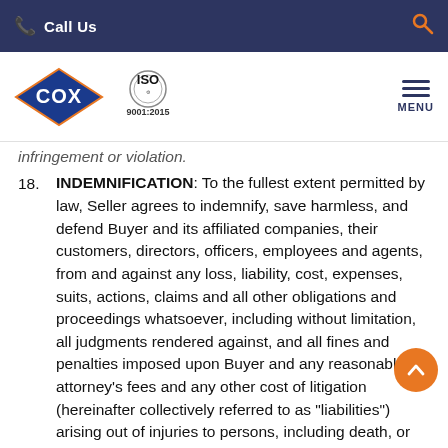Call Us | Search
[Figure (logo): COX company logo (blue diamond shape with COX text) and ISO 9001:2015 certification logo, with hamburger menu icon labeled MENU]
infringement or violation.
18. INDEMNIFICATION: To the fullest extent permitted by law, Seller agrees to indemnify, save harmless, and defend Buyer and its affiliated companies, their customers, directors, officers, employees and agents, from and against any loss, liability, cost, expenses, suits, actions, claims and all other obligations and proceedings whatsoever, including without limitation, all judgments rendered against, and all fines and penalties imposed upon Buyer and any reasonable attorney's fees and any other cost of litigation (hereinafter collectively referred to as "liabilities") arising out of injuries to persons, including death, or damage to property, caused by Seller, its employees, agents, subcontractors, or in any way attributable to the performance and prosecution of the work herein